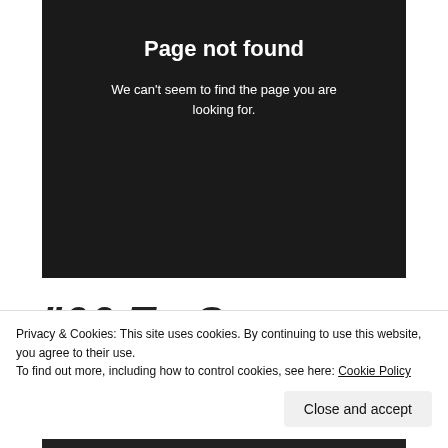[Figure (screenshot): Black 404 error box showing 'Page not found' with subtitle text on dark background]
Page not found
We can't seem to find the page you are looking for.
"06 To S..."
Privacy & Cookies: This site uses cookies. By continuing to use this website, you agree to their use.
To find out more, including how to control cookies, see here: Cookie Policy
Close and accept